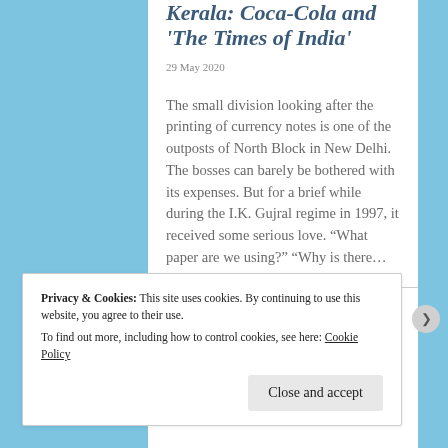Kerala: Coca-Cola and 'The Times of India'
29 May 2020
The small division looking after the printing of currency notes is one of the outposts of North Block in New Delhi. The bosses can barely be bothered with its expenses. But for a brief while during the I.K. Gujral regime in 1997, it received some serious love. “What paper are we using?” “Why is there…
Privacy & Cookies: This site uses cookies. By continuing to use this website, you agree to their use.
To find out more, including how to control cookies, see here: Cookie Policy